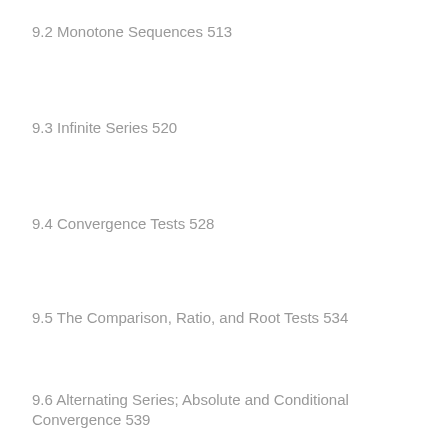9.2 Monotone Sequences 513
9.3 Infinite Series 520
9.4 Convergence Tests 528
9.5 The Comparison, Ratio, and Root Tests 534
9.6 Alternating Series; Absolute and Conditional Convergence 539